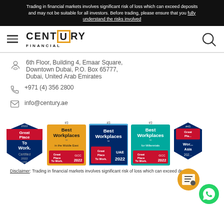Trading in financial markets involves significant risk of loss which can exceed deposits and may not be suitable for all investors. Before trading, please ensure that you fully understand the risks involved
[Figure (logo): Century Financial logo with hamburger menu and search icon]
6th Floor, Building 4, Emaar Square, Downtown Dubai, P.O. Box 65777, Dubai, United Arab Emirates
+971 (4) 356 2800
info@century.ae
[Figure (infographic): Award badges: 2022 Great Place To Work Certified UAE; #3 Best Workplaces in the Middle East GCC 2022; #3 Best Workplaces UAE 2022; #3 Best Workplaces for Millennials GCC 2022; #45 Great Place To Work Asia 2022]
Disclaimer: Trading in financial markets involves significant risk of loss which can exceed deposits